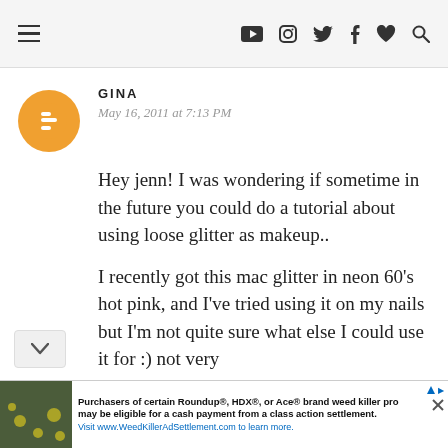Navigation bar with menu, social icons (YouTube, Instagram, Twitter, Facebook, heart, search)
GINA
May 16, 2011 at 7:13 PM
Hey jenn! I was wondering if sometime in the future you could do a tutorial about using loose glitter as makeup..

I recently got this mac glitter in neon 60's hot pink, and I've tried using it on my nails but I'm not quite sure what else I could use it for :) not very
[Figure (other): Yellow wildflowers photo used as ad background image]
Purchasers of certain Roundup®, HDX®, or Ace® brand weed killer pro may be eligible for a cash payment from a class action settlement. Visit www.WeedKillerAdSettlement.com to learn more.